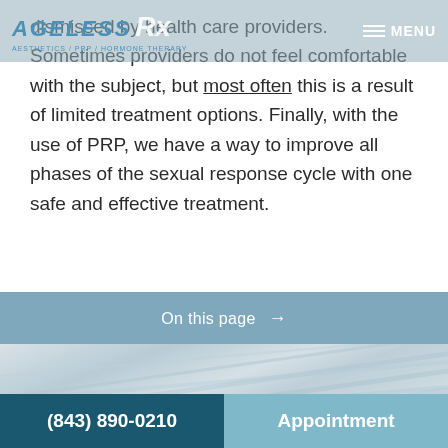AGELESS Rx — AESTHETICS / PRP / HORMONE THERAPY — MENU
dismissed by health care providers. Sometimes providers do not feel comfortable with the subject, but most often this is a result of limited treatment options. Finally, with the use of PRP, we have a way to improve all phases of the sexual response cycle with one safe and effective treatment.
On this page →
[Figure (photo): Close-up photo of white/grey marble texture with natural veining patterns]
(843) 890-0210    Appointment